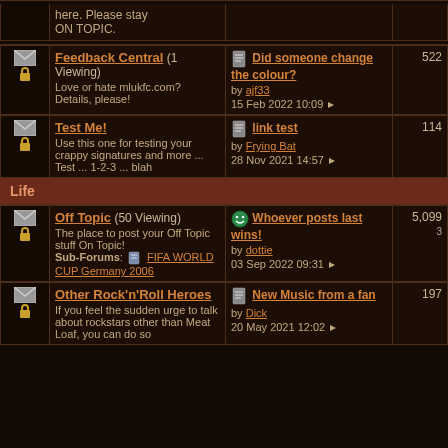here. Please stay ON TOPIC.
Feedback Central (1 Viewing) Love or hate mlukfc.com? Details, please!
Last post: Did someone change the colour? by ajf33, 15 Feb 2022 10:09, 522
Test Me! Use this one for testing your crappy signatures and more ... Test ... 1-2-3 ... blah
Last post: link test by Frying Bat, 28 Nov 2021 14:57, 114
Life
Off Topic (50 Viewing) The place to post your Off Topic stuff On Topic! Sub-Forums: FIFA WORLD CUP Germany 2006
Last post: Whoever posts last wins! by dottie, 03 Sep 2022 09:31, 5,099
Other Rock'n'Roll Heroes If you feel the sudden urge to talk about rockstars other than Meat Loaf, you can do so
Last post: New Music from a fan by Dick, 20 May 2021 12:02, 197